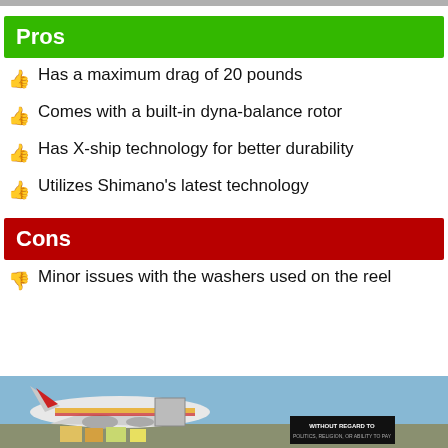Pros
Has a maximum drag of 20 pounds
Comes with a built-in dyna-balance rotor
Has X-ship technology for better durability
Utilizes Shimano's latest technology
Cons
Minor issues with the washers used on the reel
[Figure (photo): Advertisement banner showing cargo airplane being loaded, with text 'WITHOUT REGARD TO POLITICS, RELIGION, OR ABILITY TO PAY']